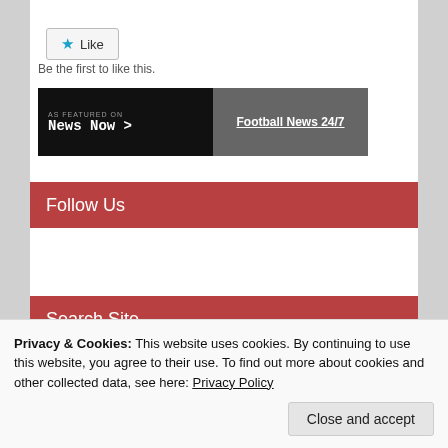[Figure (other): Like button with blue star icon and text 'Like']
Be the first to like this.
[Figure (other): News Now banner - As Featured On News Now > Football News 24/7]
Follow Us
Search Site
Privacy & Cookies: This website uses cookies. By continuing to use this website, you agree to their use. To find out more about cookies and other collected data, see here: Privacy Policy
Close and accept